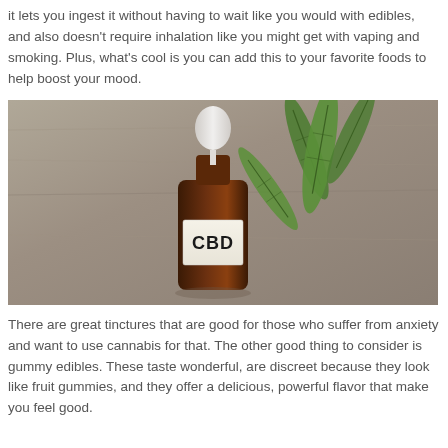it lets you ingest it without having to wait like you would with edibles, and also doesn't require inhalation like you might get with vaping and smoking. Plus, what's cool is you can add this to your favorite foods to help boost your mood.
[Figure (photo): A brown glass dropper bottle labeled 'CBD' with a white dropper cap, placed next to green cannabis leaves on a wooden surface.]
There are great tinctures that are good for those who suffer from anxiety and want to use cannabis for that. The other good thing to consider is gummy edibles. These taste wonderful, are discreet because they look like fruit gummies, and they offer a delicious, powerful flavor that make you feel good.